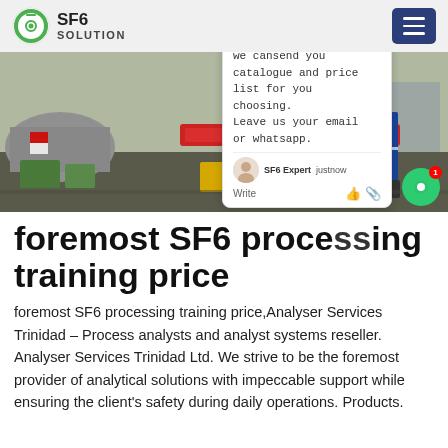SF6 SOLUTION
[Figure (photo): Worker in blue coveralls on industrial equipment at a substation or gas handling facility; various tools and equipment visible in foreground]
we cansend you catalogue and price list for you choosing. Leave us your email or whatsapp.
foremost SF6 processing training price
foremost SF6 processing training price,Analyser Services Trinidad – Process analysts and analyst systems reseller. Analyser Services Trinidad Ltd. We strive to be the foremost provider of analytical solutions with impeccable support while ensuring the client's safety during daily operations. Products.